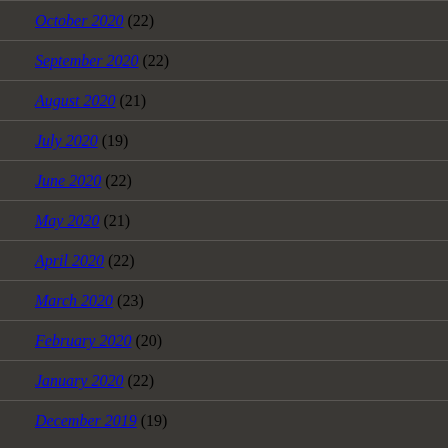October 2020 (22)
September 2020 (22)
August 2020 (21)
July 2020 (19)
June 2020 (22)
May 2020 (21)
April 2020 (22)
March 2020 (23)
February 2020 (20)
January 2020 (22)
December 2019 (19)